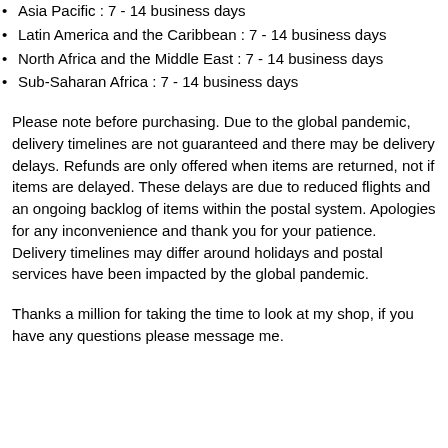Asia Pacific : 7 - 14 business days
Latin America and the Caribbean : 7 - 14 business days
North Africa and the Middle East : 7 - 14 business days
Sub-Saharan Africa : 7 - 14 business days
Please note before purchasing. Due to the global pandemic, delivery timelines are not guaranteed and there may be delivery delays. Refunds are only offered when items are returned, not if items are delayed. These delays are due to reduced flights and an ongoing backlog of items within the postal system. Apologies for any inconvenience and thank you for your patience. Delivery timelines may differ around holidays and postal services have been impacted by the global pandemic.
Thanks a million for taking the time to look at my shop, if you have any questions please message me.